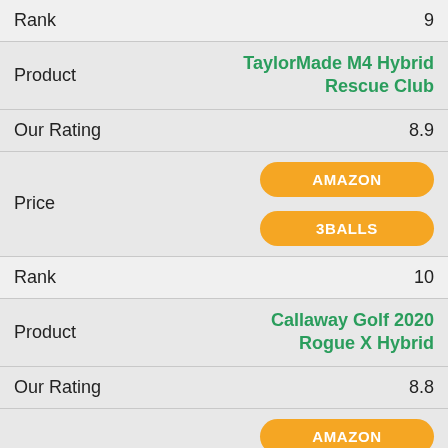| Field | Value |
| --- | --- |
| Rank | 9 |
| Product | TaylorMade M4 Hybrid Rescue Club |
| Our Rating | 8.9 |
| Price | AMAZON / 3BALLS |
| Rank | 10 |
| Product | Callaway Golf 2020 Rogue X Hybrid |
| Our Rating | 8.8 |
| Price | AMAZON / PGA VALUE |